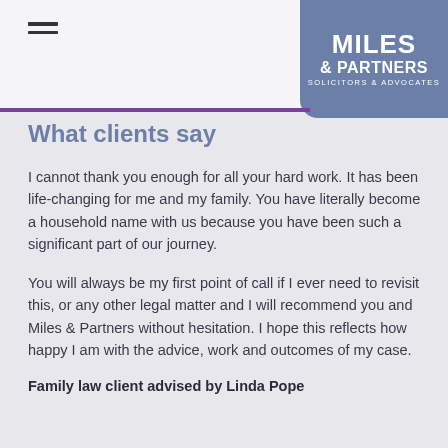[Figure (logo): Miles & Partners Solicitors & Advocates logo — white text on blue-grey rectangular background]
What clients say
I cannot thank you enough for all your hard work. It has been life-changing for me and my family. You have literally become a household name with us because you have been such a significant part of our journey.
You will always be my first point of call if I ever need to revisit this, or any other legal matter and I will recommend you and Miles & Partners without hesitation. I hope this reflects how happy I am with the advice, work and outcomes of my case.
Family law client advised by Linda Pope